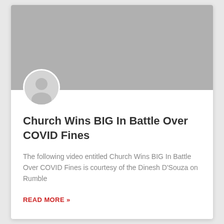[Figure (photo): Gray placeholder hero image at top of card]
[Figure (illustration): Gray circular avatar/profile placeholder icon]
Church Wins BIG In Battle Over COVID Fines
The following video entitled Church Wins BIG In Battle Over COVID Fines is courtesy of the Dinesh D'Souza on Rumble
READ MORE »